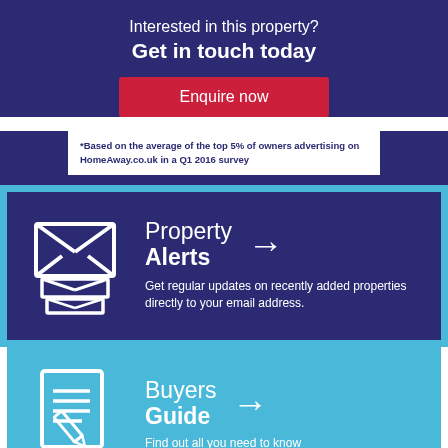Interested in this property?
Get in touch today
Enquire now
*Based on the average of the top 5% of owners advertising on HomeAway.co.uk in a Q1 2016 survey
[Figure (infographic): Property Alerts banner with envelope icon and arrow. Text: Property Alerts. Get regular updates on recently added properties directly to your email address.]
[Figure (infographic): Buyers Guide banner with document/pencil icon and arrow. Text: Buyers Guide. Find out all you need to know]